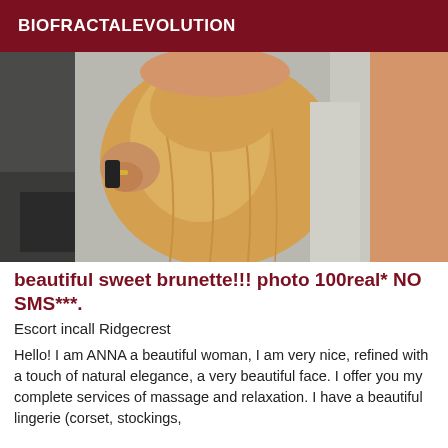BIOFRACTALEVOLUTION
[Figure (photo): Photo of a person wearing a yellow/golden fitted dress, taken from behind/side angle in what appears to be an indoor setting.]
beautiful sweet brunette!!! photo 100real* NO SMS***.
Escort incall Ridgecrest
Hello! I am ANNA a beautiful woman, I am very nice, refined with a touch of natural elegance, a very beautiful face. I offer you my complete services of massage and relaxation. I have a beautiful lingerie (corset, stockings,